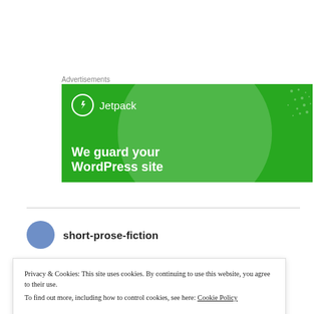Advertisements
[Figure (illustration): Jetpack advertisement banner with green background, Jetpack logo (lightning bolt in circle), and text 'We guard your WordPress site']
short-prose-fiction
Privacy & Cookies: This site uses cookies. By continuing to use this website, you agree to their use.
To find out more, including how to control cookies, see here: Cookie Policy
Close and accept